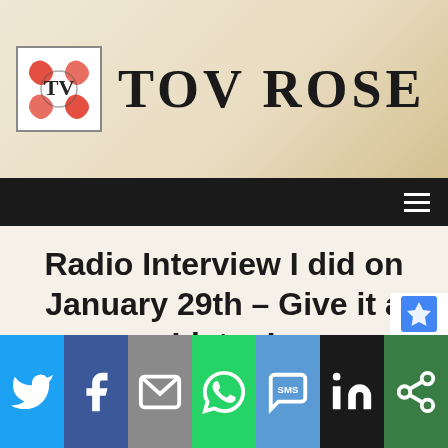[Figure (logo): Tov Rose website header with logo (red ornamental design with TV letters in a square) and large serif text 'TOV ROSE']
Radio Interview I did on January 29th – Give it a Listen!
Home » Radio Interview I did on January 29th – Give it a Listen!
[Figure (infographic): Social sharing bar with icons for Twitter, Facebook, Email, WhatsApp, SMS, LinkedIn, and a share/more button]